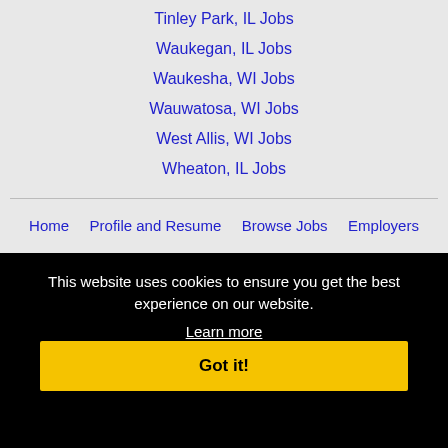Tinley Park, IL Jobs
Waukegan, IL Jobs
Waukesha, WI Jobs
Wauwatosa, WI Jobs
West Allis, WI Jobs
Wheaton, IL Jobs
Home  Profile and Resume  Browse Jobs  Employers
This website uses cookies to ensure you get the best experience on our website.
Learn more
Got it!